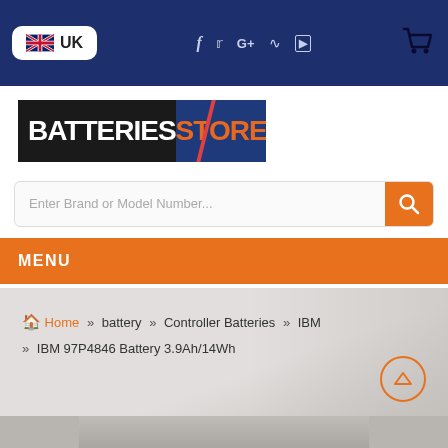[Figure (screenshot): Top navigation bar with UK flag button, social media icons (f, twitter, G+, RSS, YouTube), and shopping cart icon on dark navy background]
[Figure (logo): BATTERIESSTORE logo — white bold text on black background with orange accent and blue panel on right]
Enter Brand or Model Number...
MENU
Home » battery » Controller Batteries » IBM » IBM 97P4846 Battery 3.9Ah/14Wh
[Figure (photo): Partial view of a battery product wrapped in plastic packaging]